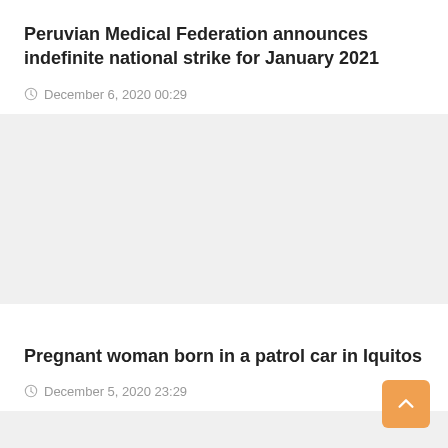Peruvian Medical Federation announces indefinite national strike for January 2021
December 6, 2020 00:29
[Figure (photo): Image placeholder for article about Peruvian Medical Federation strike]
Pregnant woman born in a patrol car in Iquitos
December 5, 2020 23:29
[Figure (photo): Image placeholder for article about pregnant woman in patrol car in Iquitos]